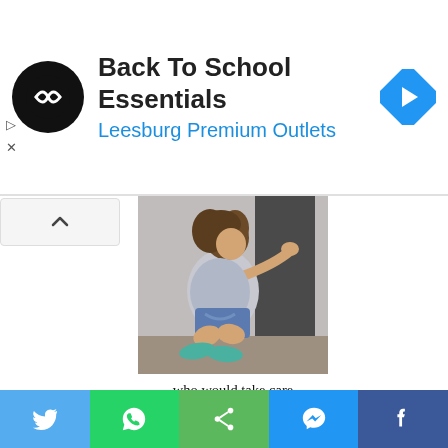[Figure (screenshot): Ad banner for Back To School Essentials at Leesburg Premium Outlets with circular logo and blue navigation arrow icon]
Back To School Essentials
Leesburg Premium Outlets
[Figure (infographic): Insurance advertisement showing a girl crouching by a gravestone in black and white, with text 'who would take care of your family?' and a 'Click Here' button for a free quote]
who would take care of your family?
Get A Free Quote!
Click Here
Think About it - Contact us
[Figure (infographic): Bottom social sharing bar with Twitter, WhatsApp, Share, Messenger, and Facebook buttons]